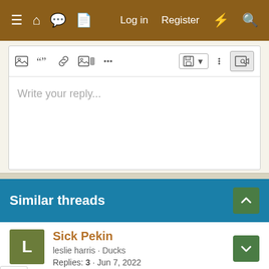≡ 🏠 💬 📄  Log in  Register  ⚡ 🔍
[Figure (screenshot): Forum reply editor toolbar with icons for image, quote, link, media, more options, save, and preview buttons]
Write your reply...
Post reply
Similar threads
Sick Pekin
leslie harris · Ducks
Replies: 3 · Jun 7, 2022
Molting?
kbgrover · Ducks